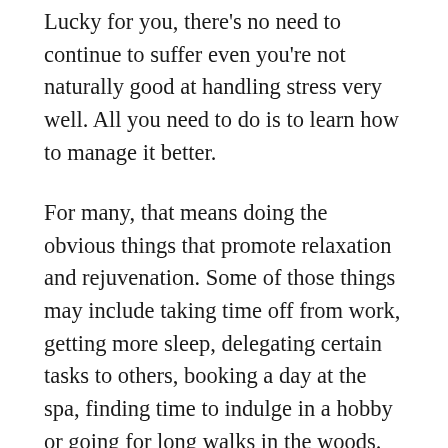Lucky for you, there's no need to continue to suffer even you're not naturally good at handling stress very well. All you need to do is to learn how to manage it better.
For many, that means doing the obvious things that promote relaxation and rejuvenation. Some of those things may include taking time off from work, getting more sleep, delegating certain tasks to others, booking a day at the spa, finding time to indulge in a hobby or going for long walks in the woods.
Those are all great things to do, but they do take time, and they don't encompass all of what you